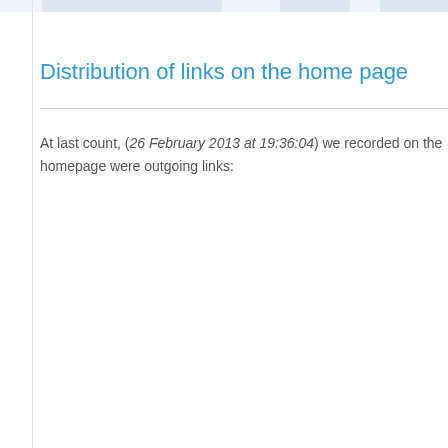Distribution of links on the home page
At last count, (26 February 2013 at 19:36:04) we recorded on the homepage were outgoing links: